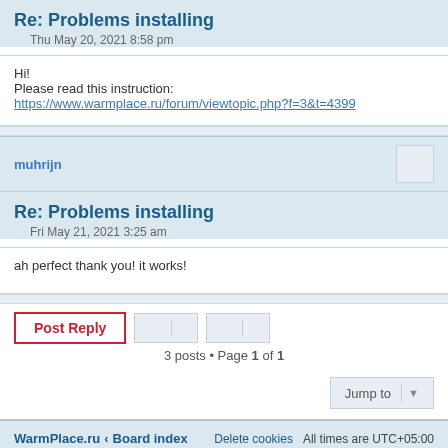Re: Problems installing
Thu May 20, 2021 8:58 pm
Hi!
Please read this instruction:
https://www.warmplace.ru/forum/viewtopic.php?f=3&t=4399
muhrijn
Re: Problems installing
Fri May 21, 2021 3:25 am
ah perfect thank you! it works!
3 posts • Page 1 of 1
WarmPlace.ru ‹ Board index    Delete cookies    All times are UTC+05:00
Powered by phpBB® Forum Software © phpBB Limited